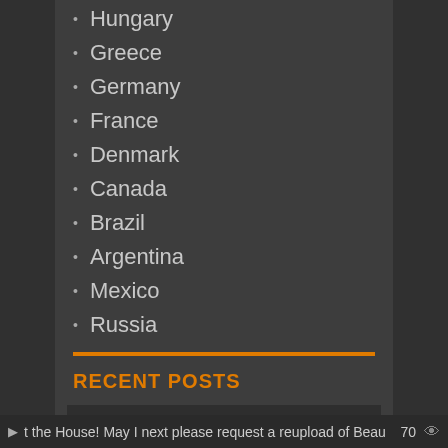Hungary
Greece
Germany
France
Denmark
Canada
Brazil
Argentina
Mexico
Russia
RECENT POSTS
The White Horse Inn AKA Im weißen Rößl (1935) Carl Lamac, Christl Mardayn, Hermann Thimig, Willi Schaeffers
Shadow of the Vampire (2000) E. Elias Merhige, John Malkovich, Willem Dafoe, Udo Kier
t the House! May I next please request a reupload of Beau  70